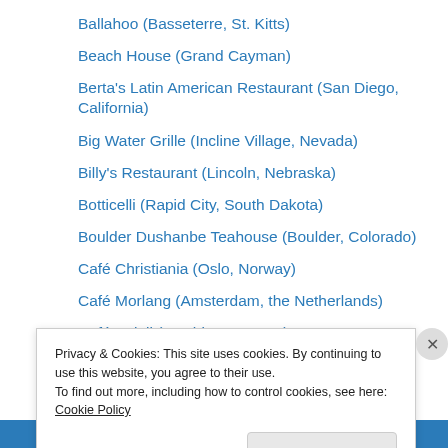Ballahoo (Basseterre, St. Kitts)
Beach House (Grand Cayman)
Berta's Latin American Restaurant (San Diego, California)
Big Water Grille (Incline Village, Nevada)
Billy's Restaurant (Lincoln, Nebraska)
Botticelli (Rapid City, South Dakota)
Boulder Dushanbe Teahouse (Boulder, Colorado)
Café Christiania (Oslo, Norway)
Café Morlang (Amsterdam, the Netherlands)
Café Soleil (Washington, D.C.)
Capistrano (Valletta, Malta)
Casa Reina (St. Augustine, Florida)
Chaophraya (Glasgow, Scotland)
Privacy & Cookies: This site uses cookies. By continuing to use this website, you agree to their use.
To find out more, including how to control cookies, see here: Cookie Policy
Close and accept